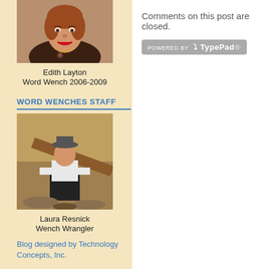[Figure (photo): Photo of Edith Layton, a woman with reddish-brown hair and red lipstick, wearing dark clothing, smiling]
Edith Layton
Word Wench 2006-2009
WORD WENCHES STAFF
[Figure (photo): Photo of Laura Resnick, a woman wearing a hat and white shirt, crouching in what appears to be an archaeological site or cave]
Laura Resnick
Wench Wrangler
Comments on this post are closed.
[Figure (logo): Powered by TypePad badge/logo]
Blog designed by Technology Concepts, Inc.